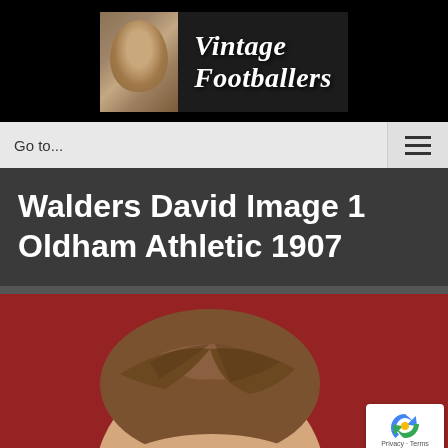[Figure (logo): Vintage Footballers website logo with a vintage portrait photo of a footballer on the left and the text 'Vintage Footballers' in bold italic serif font on a dark background]
Go to...
Walders David Image 1 Oldham Athletic 1907
[Figure (photo): Close-up portrait photo of a vintage footballer against a red background, showing the top of the head with parted brown hair, partially cropped]